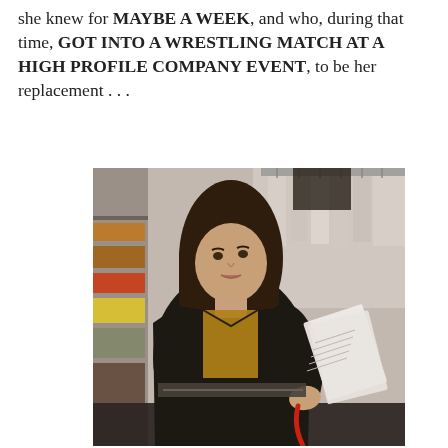she knew for MAYBE A WEEK, and who, during that time, GOT INTO A WRESTLING MATCH AT A HIGH PROFILE COMPANY EVENT, to be her replacement . . .
[Figure (photo): A young woman with long brown hair, wearing a dark jacket over a yellow/mustard vest, holding papers and looking upward to her left. She is standing in what appears to be a clothing store or wardrobe room with clothes racks visible in the background.]